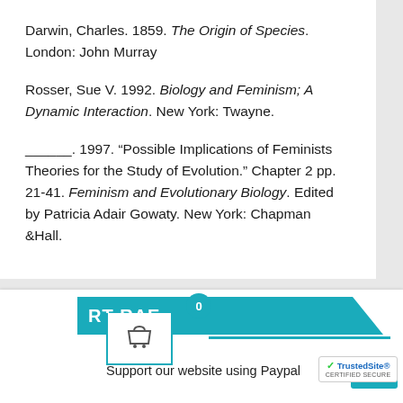Darwin, Charles. 1859. The Origin of Species. London: John Murray
Rosser, Sue V.  1992.  Biology and Feminism; A Dynamic Interaction.  New York: Twayne.
______. 1997. “Possible Implications of Feminists Theories for the Study of Evolution.”  Chapter 2 pp. 21-41. Feminism and Evolutionary Biology. Edited by Patricia Adair Gowaty. New York: Chapman &Hall.
Support our website using Paypal
[Figure (screenshot): Website UI element showing shopping basket icon, teal header bar with text 'RT RAE', badge showing 0, teal horizontal line, blue button, and TrustedSite certified secure badge]